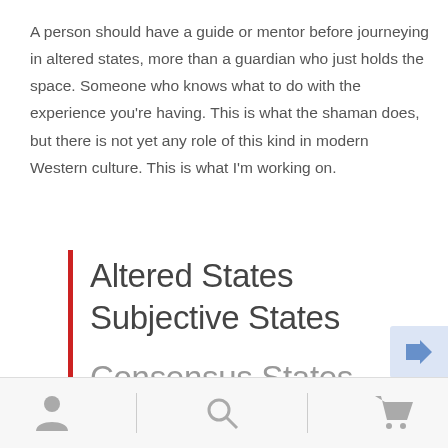A person should have a guide or mentor before journeying in altered states, more than a guardian who just holds the space. Someone who knows what to do with the experience you're having. This is what the shaman does, but there is not yet any role of this kind in modern Western culture. This is what I'm working on.
Altered States
Subjective States
Consensus States